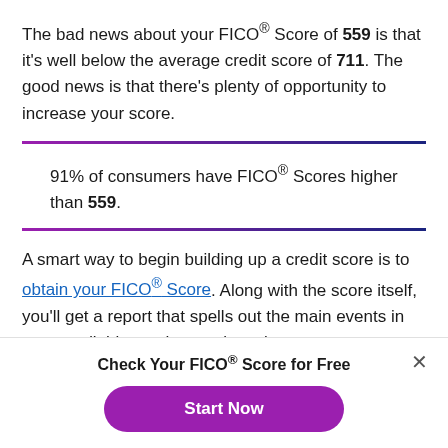The bad news about your FICO® Score of 559 is that it's well below the average credit score of 711. The good news is that there's plenty of opportunity to increase your score.
91% of consumers have FICO® Scores higher than 559.
A smart way to begin building up a credit score is to obtain your FICO® Score. Along with the score itself, you'll get a report that spells out the main events in your credit history that are lowering your score. Because that information is
Check Your FICO® Score for Free
Start Now